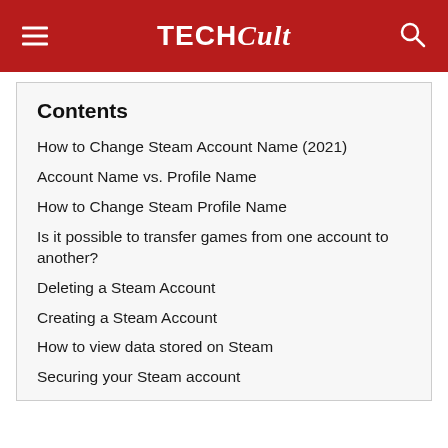TechCult
Contents
How to Change Steam Account Name (2021)
Account Name vs. Profile Name
How to Change Steam Profile Name
Is it possible to transfer games from one account to another?
Deleting a Steam Account
Creating a Steam Account
How to view data stored on Steam
Securing your Steam account